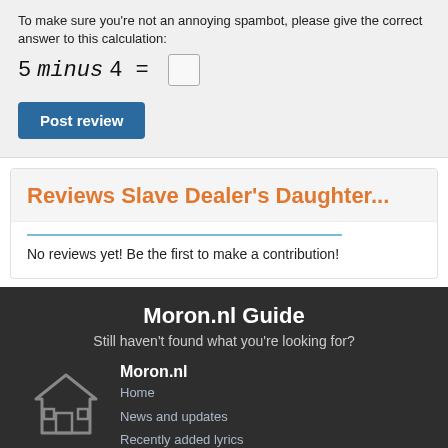To make sure you're not an annoying spambot, please give the correct answer to this calculation:
Post review
Reviews Slave Dealer's Daughter...
No reviews yet! Be the first to make a contribution!
Moron.nl Guide
Still haven't found what you're looking for?
Moron.nl
Home
News and updates
Recently added lyrics